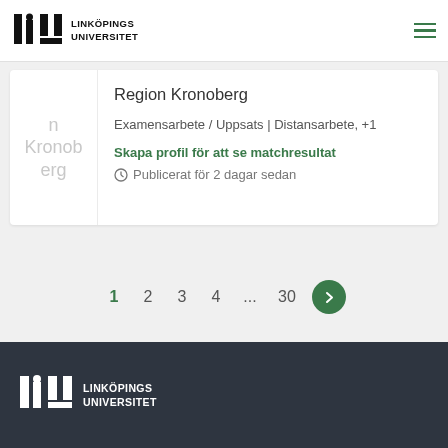[Figure (logo): Linköpings Universitet logo (black) with LiU icon]
Region Kronoberg
Examensarbete / Uppsats | Distansarbete, +1
Skapa profil för att se matchresultat
Publicerat för 2 dagar sedan
Linköpings Universitet logo (white on dark background)